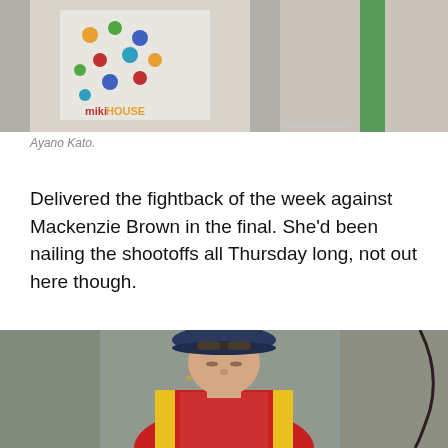[Figure (photo): Partial photo of Ayano Kato in a colorful polka-dot outfit with 'miki HOUSE' text visible, at an archery event. Watermark: theinfiniteourve.com]
Ayano Kato.
Delivered the fightback of the week against Mackenzie Brown in the final. She’d been nailing the shootoffs all Thursday long, not out here though.
[Figure (photo): Photo of a female archer wearing a navy bucket hat with sunglasses on top, and a red and yellow team polo shirt, looking downward. A bow is visible at the right edge.]